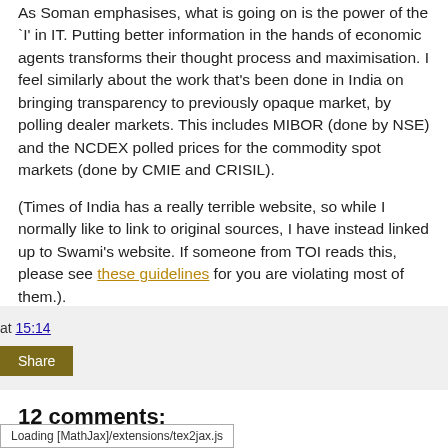As Soman emphasises, what is going on is the power of the `I' in IT. Putting better information in the hands of economic agents transforms their thought process and maximisation. I feel similarly about the work that's been done in India on bringing transparency to previously opaque market, by polling dealer markets. This includes MIBOR (done by NSE) and the NCDEX polled prices for the commodity spot markets (done by CMIE and CRISIL).
(Times of India has a really terrible website, so while I normally like to link to original sources, I have instead linked up to Swami's website. If someone from TOI reads this, please see these guidelines for you are violating most of them.).
at 15:14
Share
12 comments:
Loading [MathJax]/extensions/tex2jax.js